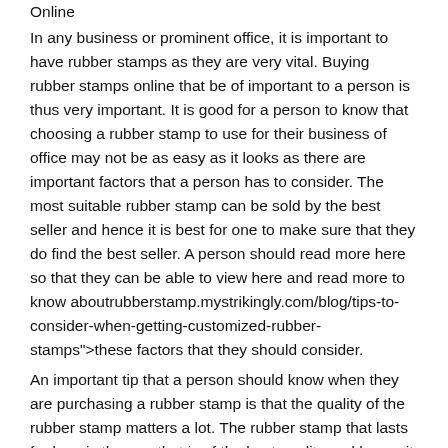Online
In any business or prominent office, it is important to have rubber stamps as they are very vital. Buying rubber stamps online that be of important to a person is thus very important. It is good for a person to know that choosing a rubber stamp to use for their business of office may not be as easy as it looks as there are important factors that a person has to consider. The most suitable rubber stamp can be sold by the best seller and hence it is best for one to make sure that they do find the best seller. A person should read more here so that they can be able to view here and read more to know aboutrubberstamp.mystrikingly.com/blog/tips-to-consider-when-getting-customized-rubber-stamps">these factors that they should consider.
An important tip that a person should know when they are purchasing a rubber stamp is that the quality of the rubber stamp matters a lot. The rubber stamp that lasts for long is the one that is of the best quality and hence it is best for one to ensure that they buy that. It can be hard to know the rubber stamps that are of the best quality and hence it is best that the sellers that sell high quality rubber stamps